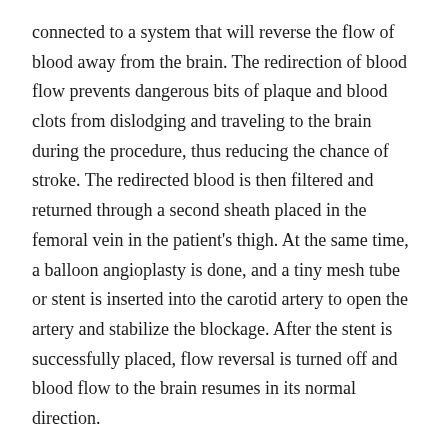connected to a system that will reverse the flow of blood away from the brain. The redirection of blood flow prevents dangerous bits of plaque and blood clots from dislodging and traveling to the brain during the procedure, thus reducing the chance of stroke. The redirected blood is then filtered and returned through a second sheath placed in the femoral vein in the patient's thigh. At the same time, a balloon angioplasty is done, and a tiny mesh tube or stent is inserted into the carotid artery to open the artery and stabilize the blockage. After the stent is successfully placed, flow reversal is turned off and blood flow to the brain resumes in its normal direction.
Fernando Kafie, MD, and Huey McDaniel, MD, are two vascular surgeons at Coastal Vascular and Interventional in Pensacola and part of the Sacred Heart – Heart and